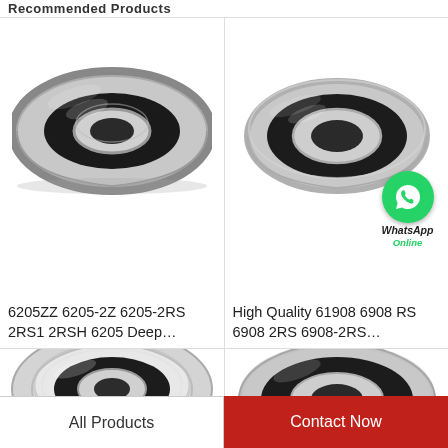Recommended Products
[Figure (photo): Deep groove ball bearing 6205, side view showing black rubber seal and steel ring, silver/gray metallic finish]
6205ZZ 6205-2Z 6205-2RS 2RS1 2RSH 6205 Deep…
[Figure (photo): High quality deep groove ball bearing 61908/6908, top view showing black rubber sealed bearing with WhatsApp Online chat icon overlay]
High Quality 61908 6908 RS 6908 2RS 6908-2RS…
[Figure (photo): Ball bearing with metal shield, partial view from top-left angle showing gray metallic shielding]
[Figure (photo): Ball bearing partial view from top-right angle, showing metallic ring edge]
All Products
Contact Now